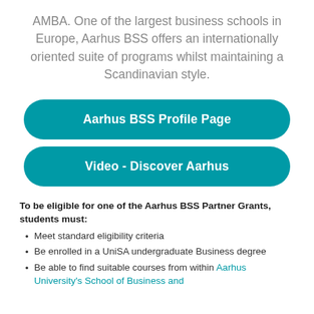AMBA. One of the largest business schools in Europe, Aarhus BSS offers an internationally oriented suite of programs whilst maintaining a Scandinavian style.
[Figure (other): Teal rounded button labeled 'Aarhus BSS Profile Page']
[Figure (other): Teal rounded button labeled 'Video - Discover Aarhus']
To be eligible for one of the Aarhus BSS Partner Grants, students must:
Meet standard eligibility criteria
Be enrolled in a UniSA undergraduate Business degree
Be able to find suitable courses from within Aarhus University's School of Business and